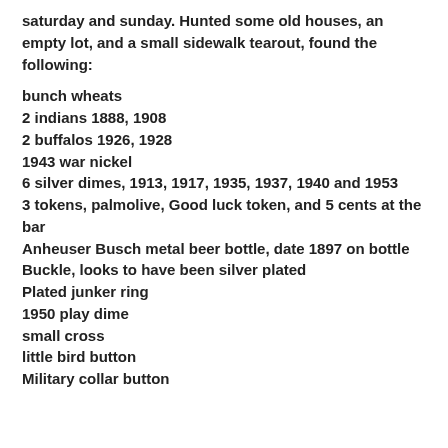saturday and sunday. Hunted some old houses, an empty lot, and a small sidewalk tearout, found the following:
bunch wheats
2 indians 1888, 1908
2 buffalos 1926, 1928
1943 war nickel
6 silver dimes, 1913, 1917, 1935, 1937, 1940 and 1953
3 tokens, palmolive, Good luck token, and 5 cents at the bar
Anheuser Busch metal beer bottle, date 1897 on bottle
Buckle, looks to have been silver plated
Plated junker ring
1950 play dime
small cross
little bird button
Military collar button